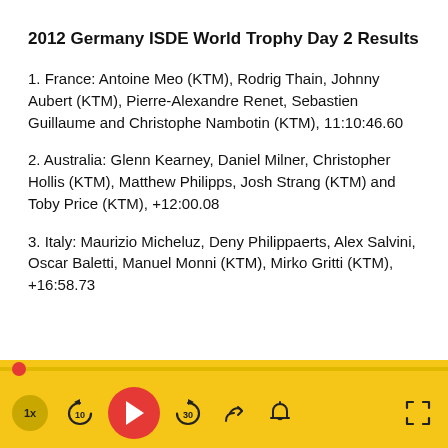2012 Germany ISDE World Trophy Day 2 Results
1. France: Antoine Meo (KTM), Rodrig Thain, Johnny Aubert (KTM), Pierre-Alexandre Renet, Sebastien Guillaume and Christophe Nambotin (KTM), 11:10:46.60
2. Australia: Glenn Kearney, Daniel Milner, Christopher Hollis (KTM), Matthew Philipps, Josh Strang (KTM) and Toby Price (KTM), +12:00.08
3. Italy: Maurizio Micheluz, Deny Philippaerts, Alex Salvini, Oscar Baletti, Manuel Monni (KTM), Mirko Gritti (KTM), +16:58.73
[Figure (screenshot): Media player control bar with progress track, playback controls (speed 1x, skip back 10s, play button, skip forward 30s, share, notification bell), and fullscreen button on a yellow/gold background.]